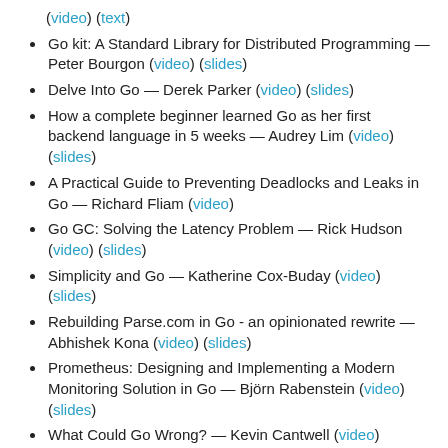(video) (text)
Go kit: A Standard Library for Distributed Programming — Peter Bourgon (video) (slides)
Delve Into Go — Derek Parker (video) (slides)
How a complete beginner learned Go as her first backend language in 5 weeks — Audrey Lim (video) (slides)
A Practical Guide to Preventing Deadlocks and Leaks in Go — Richard Fliam (video)
Go GC: Solving the Latency Problem — Rick Hudson (video) (slides)
Simplicity and Go — Katherine Cox-Buday (video) (slides)
Rebuilding Parse.com in Go - an opinionated rewrite — Abhishek Kona (video) (slides)
Prometheus: Designing and Implementing a Modern Monitoring Solution in Go — Björn Rabenstein (video) (slides)
What Could Go Wrong? — Kevin Cantwell (video)
The Roots of Go — Baishampayan Ghose (video)